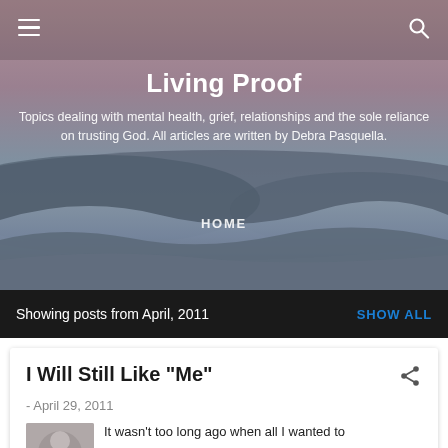[Figure (screenshot): Blog website header with landscape/desert background image (dunes at dusk with muted purple-pink sky)]
Living Proof
Topics dealing with mental health, grief, relationships and the sole reliance on trusting God. All articles are written by Debra Pasquella.
HOME
Showing posts from April, 2011
SHOW ALL
I Will Still Like "Me"
- April 29, 2011
It wasn't too long ago when all I wanted to